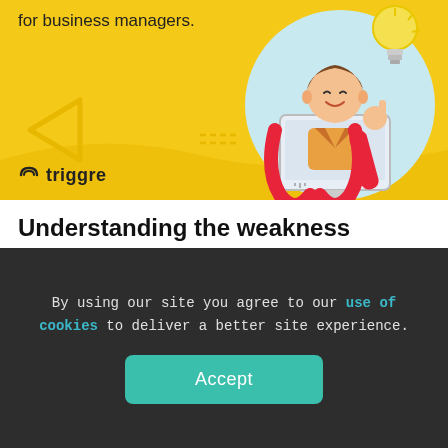[Figure (illustration): Yellow banner with Triggre branding showing a cartoon character sitting at a Mac computer with a red magnet and a light bulb, with decorative triangle and wave shapes. Text reads 'for business managers.' and Triggre logo at bottom left.]
Understanding the weakness
To fully understand how big of a weakness this is
By using our site you agree to our use of cookies to deliver a better site experience.
Accept